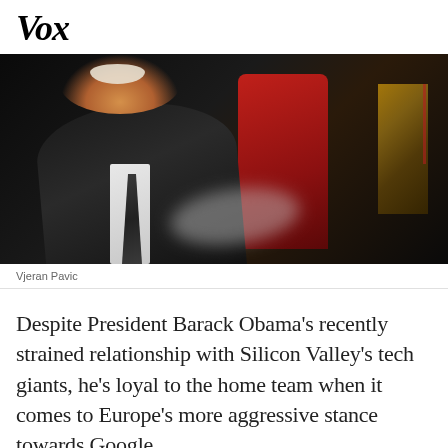Vox
[Figure (photo): A smiling man in a dark suit with a tie, seated in a red chair, with an American flag visible in the background. The foreground is partially blurred.]
Vjeran Pavic
Despite President Barack Obama’s recently strained relationship with Silicon Valley’s tech giants, he’s loyal to the home team when it comes to Europe’s more aggressive stance towards Google.